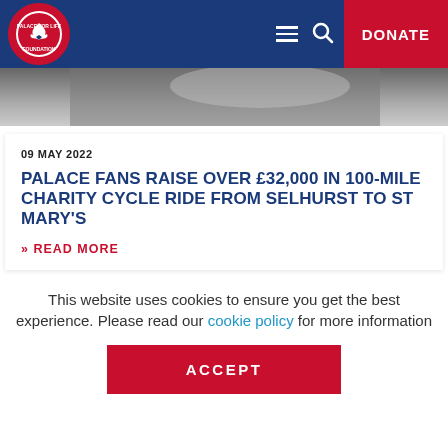Palace for Life Foundation — DONATE
[Figure (photo): Partial image of charity cycle ride, grey/dark asphalt background strip]
09 MAY 2022
PALACE FANS RAISE OVER £32,000 IN 100-MILE CHARITY CYCLE RIDE FROM SELHURST TO ST MARY'S
>> READ MORE
This website uses cookies to ensure you get the best experience. Please read our cookie policy for more information
ACCEPT